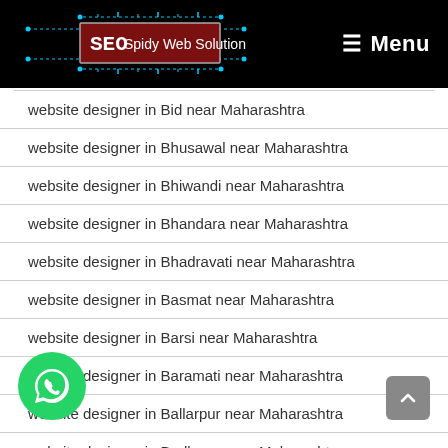SEO Spidy Web Solution — Menu
website designer in Bid near Maharashtra
website designer in Bhusawal near Maharashtra
website designer in Bhiwandi near Maharashtra
website designer in Bhandara near Maharashtra
website designer in Bhadravati near Maharashtra
website designer in Basmat near Maharashtra
website designer in Barsi near Maharashtra
website designer in Baramati near Maharashtra
website designer in Ballarpur near Maharashtra
website designer in Badlapur near Maharashtra